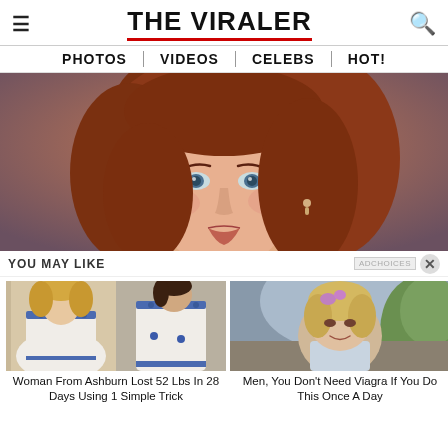THE VIRALER
PHOTOS | VIDEOS | CELEBS | HOT!
[Figure (photo): Close-up photo of a woman with auburn/red hair and blue eyes, wearing a small earring, against a blurred gray background.]
YOU MAY LIKE
[Figure (photo): Before and after weight loss photos of a woman in a wedding dress.]
Woman From Ashburn Lost 52 Lbs In 28 Days Using 1 Simple Trick
[Figure (photo): Photo of a middle-aged woman with blonde hair outdoors.]
Men, You Don't Need Viagra If You Do This Once A Day